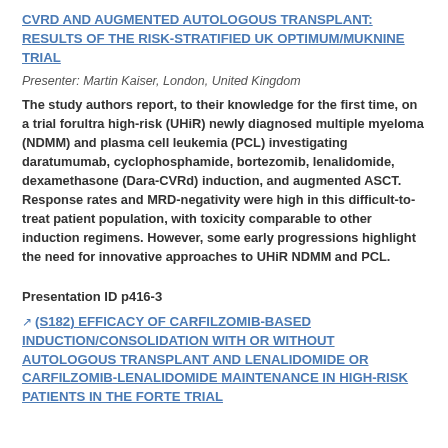CVRD AND AUGMENTED AUTOLOGOUS TRANSPLANT: RESULTS OF THE RISK-STRATIFIED UK OPTIMUM/MUKNINE TRIAL
Presenter: Martin Kaiser, London, United Kingdom
The study authors report, to their knowledge for the first time, on a trial forultra high-risk (UHiR) newly diagnosed multiple myeloma (NDMM) and plasma cell leukemia (PCL) investigating daratumumab, cyclophosphamide, bortezomib, lenalidomide, dexamethasone (Dara-CVRd) induction, and augmented ASCT. Response rates and MRD-negativity were high in this difficult-to-treat patient population, with toxicity comparable to other induction regimens. However, some early progressions highlight the need for innovative approaches to UHiR NDMM and PCL.
Presentation ID p416-3
(S182) EFFICACY OF CARFILZOMIB-BASED INDUCTION/CONSOLIDATION WITH OR WITHOUT AUTOLOGOUS TRANSPLANT AND LENALIDOMIDE OR CARFILZOMIB-LENALIDOMIDE MAINTENANCE IN HIGH-RISK PATIENTS IN THE FORTE TRIAL